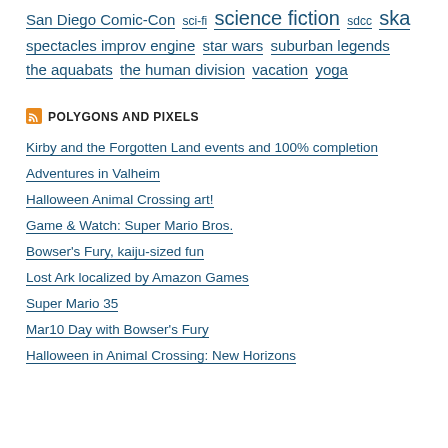San Diego Comic-Con  sci-fi  science fiction  sdcc  ska  spectacles improv engine  star wars  suburban legends  the aquabats  the human division  vacation  yoga
POLYGONS AND PIXELS
Kirby and the Forgotten Land events and 100% completion
Adventures in Valheim
Halloween Animal Crossing art!
Game & Watch: Super Mario Bros.
Bowser's Fury, kaiju-sized fun
Lost Ark localized by Amazon Games
Super Mario 35
Mar10 Day with Bowser's Fury
Halloween in Animal Crossing: New Horizons